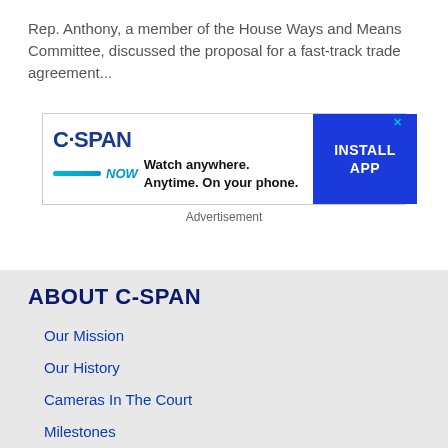Rep. Anthony, a member of the House Ways and Means Committee, discussed the proposal for a fast-track trade agreement...
[Figure (other): C-SPAN NOW advertisement banner: logo on left with tagline 'Watch anywhere. Anytime. On your phone.' and 'INSTALL APP' button on right]
Advertisement
ABOUT C-SPAN
Our Mission
Our History
Cameras In The Court
Milestones